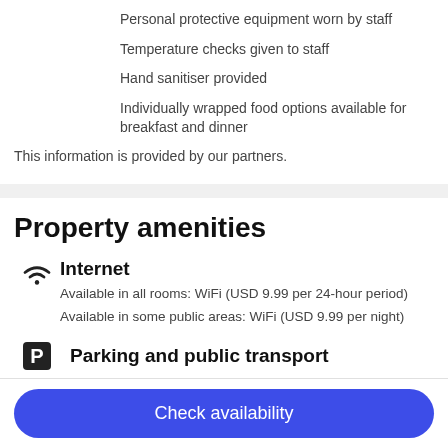Personal protective equipment worn by staff
Temperature checks given to staff
Hand sanitiser provided
Individually wrapped food options available for breakfast and dinner
This information is provided by our partners.
Property amenities
Internet
Available in all rooms: WiFi (USD 9.99 per 24-hour period)
Available in some public areas: WiFi (USD 9.99 per night)
Parking and public transport
Check availability